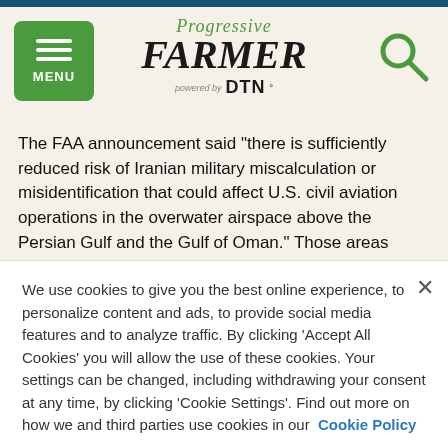Progressive Farmer powered by DTN
The FAA announcement said "there is sufficiently reduced risk of Iranian military miscalculation or misidentification that could affect U.S. civil aviation operations in the overwater airspace above the Persian Gulf and the Gulf of Oman." Those areas cover much of Kuwait, Saudi Arabia, Bahrain, the United Arab Emirates and Oman.
However, the agency said it still advises operators to exercise caution and avoid operating on air routes nearest to the Tehran
We use cookies to give you the best online experience, to personalize content and ads, to provide social media features and to analyze traffic. By clicking 'Accept All Cookies' you will allow the use of these cookies. Your settings can be changed, including withdrawing your consent at any time, by clicking 'Cookie Settings'. Find out more on how we and third parties use cookies in our Cookie Policy
Cookies Settings
Accept All Cookies